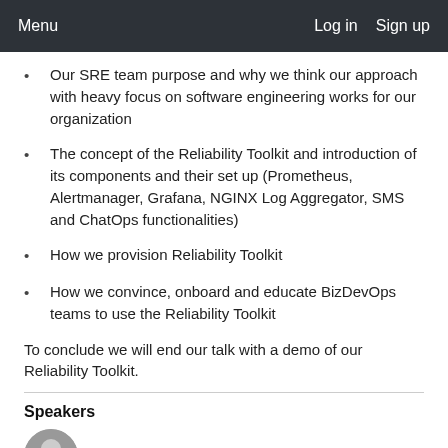Menu   Log in   Sign up
Our SRE team purpose and why we think our approach with heavy focus on software engineering works for our organization
The concept of the Reliability Toolkit and introduction of its components and their set up (Prometheus, Alertmanager, Grafana, NGINX Log Aggregator, SMS and ChatOps functionalities)
How we provision Reliability Toolkit
How we convince, onboard and educate BizDevOps teams to use the Reliability Toolkit
To conclude we will end our talk with a demo of our Reliability Toolkit.
Speakers
[Figure (photo): Circular profile photo of a speaker, partially visible at the bottom of the page]